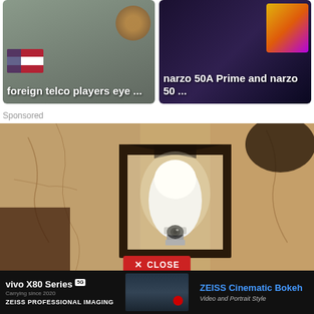[Figure (screenshot): News card: foreign telco players eye ... with flag background]
[Figure (screenshot): News card: narzo 50A Prime and narzo 50 ... with dark background and colorful icon]
Sponsored
[Figure (photo): Sponsored ad image showing an outdoor wall lantern with a security camera style bulb mounted on a cracked stucco wall]
X  CLOSE
[Figure (screenshot): Bottom banner ad: vivo X80 Series 5G, ZEISS PROFESSIONAL IMAGING, ZEISS Cinematic Bokeh, Video and Portrait Style]